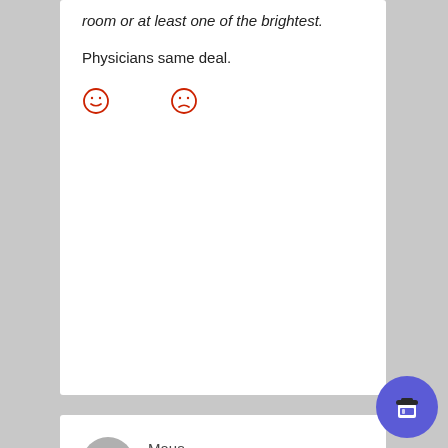room or at least one of the brightest.
Physicians same deal.
[Figure (other): Two red outlined smiley face emoji icons side by side]
Maus on August 19, 2019 at 12:58 pm said:
Respectfully, I have to disagree. Most patent lawyers have STEM backgrounds. Most litigators at white shoe firms are quite creative and quick-on-the-uptake about a wide range of issues.